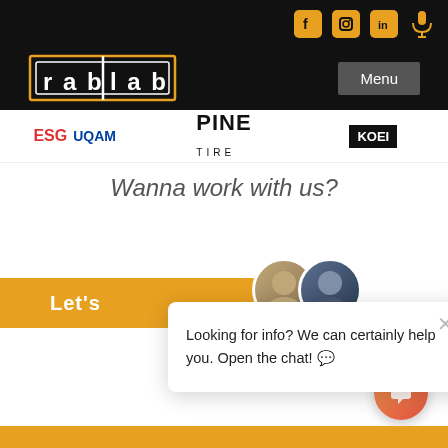[Figure (screenshot): Website screenshot of rablab showing navigation bar with social icons (Facebook, Instagram, LinkedIn, microphone), rablab logo, Menu button, partner logos strip (ESG UQAM, Pine Tire, KOEI or similar), tagline 'Wanna work with us?', orange CTA button with 'Let's', avatar pair, chat popup with message 'Looking for info? We can certainly help you. Open the chat!', chat bubble button, and orange footer bar.]
rablab | Menu
Wanna work with us?
Let's
Looking for info? We can certainly help you. Open the chat! 💬